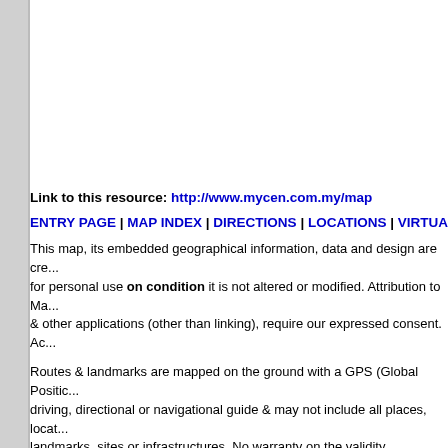Link to this resource: http://www.mycen.com.my/map
ENTRY PAGE | MAP INDEX | DIRECTIONS | LOCATIONS | VIRTUAL TO...
This map, its embedded geographical information, data and design are cre... for personal use on condition it is not altered or modified. Attribution to Ma... & other applications (other than linking), require our expressed consent. Ac...
Routes & landmarks are mapped on the ground with a GPS (Global Positi... driving, directional or navigational guide & may not include all places, locat... landmarks, sites or infrastructures. No warranty on the validity, completene... labeling given or implied. Neither do we endorse or recommend any featur...
Property names, place names, location mark, point-of-interest, business na... owners. Malaysia Central & TV Smith are not affiliated, connected or assoc...
queries: mapping, way to, directory, route, routes, street, directory, directio... geograhical, site, overview, view, district, getting, drive, get to, going, go, fa... digital, gis, poi, distance between, nearest way, shortcut, position, locate, v... market, pasar malam, mosques, churches, temples, worship, traffic lights,... wisma, kompleks, dewan, pusat, balai, polis, bomba, masjid, daerah, kawa...